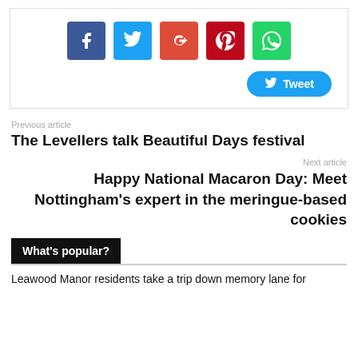[Figure (infographic): Social sharing buttons: Facebook (blue), Twitter (light blue), Google+ (red-orange), Pinterest (dark red), WhatsApp (green), and a Tweet button]
Previous article
The Levellers talk Beautiful Days festival
Next article
Happy National Macaron Day: Meet Nottingham's expert in the meringue-based cookies
What's popular?
Leawood Manor residents take a trip down memory lane for